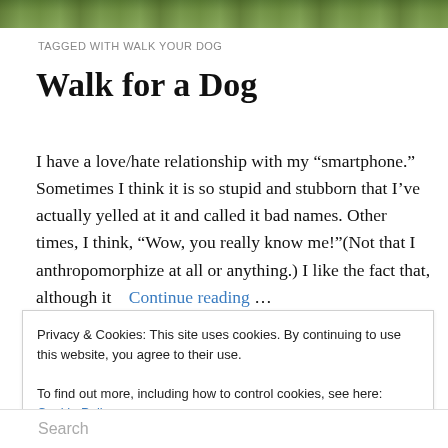[Figure (photo): Outdoor photo strip showing grass and foliage at the top of the page]
TAGGED WITH WALK YOUR DOG
Walk for a Dog
I have a love/hate relationship with my “smartphone.” Sometimes I think it is so stupid and stubborn that I’ve actually yelled at it and called it bad names. Other times, I think, “Wow, you really know me!”(Not that I anthropomorphize at all or anything.) I like the fact that, although it    Continue reading …
Privacy & Cookies: This site uses cookies. By continuing to use this website, you agree to their use.
To find out more, including how to control cookies, see here: Cookie Policy
[Close and accept]
Search